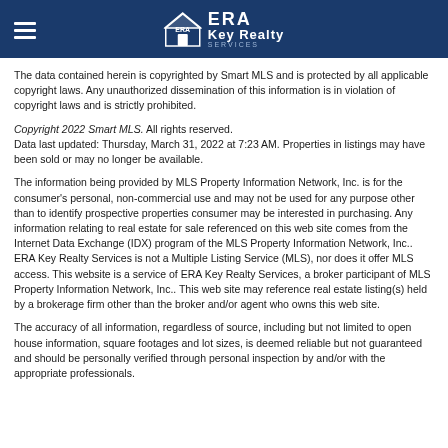ERA Key Realty Services
The data contained herein is copyrighted by Smart MLS and is protected by all applicable copyright laws. Any unauthorized dissemination of this information is in violation of copyright laws and is strictly prohibited.
Copyright 2022 Smart MLS. All rights reserved.
Data last updated: Thursday, March 31, 2022 at 7:23 AM. Properties in listings may have been sold or may no longer be available.
The information being provided by MLS Property Information Network, Inc. is for the consumer's personal, non-commercial use and may not be used for any purpose other than to identify prospective properties consumer may be interested in purchasing. Any information relating to real estate for sale referenced on this web site comes from the Internet Data Exchange (IDX) program of the MLS Property Information Network, Inc.. ERA Key Realty Services is not a Multiple Listing Service (MLS), nor does it offer MLS access. This website is a service of ERA Key Realty Services, a broker participant of MLS Property Information Network, Inc.. This web site may reference real estate listing(s) held by a brokerage firm other than the broker and/or agent who owns this web site.
The accuracy of all information, regardless of source, including but not limited to open house information, square footages and lot sizes, is deemed reliable but not guaranteed and should be personally verified through personal inspection by and/or with the appropriate professionals.